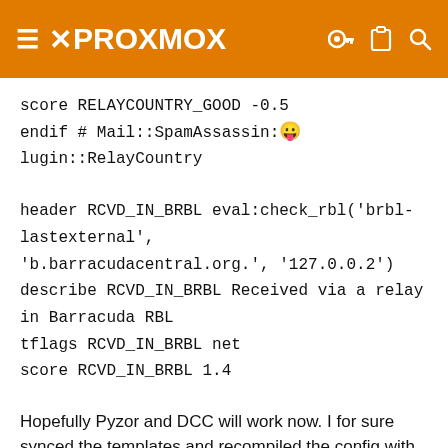PROXMOX
score RELAYCOUNTRY_GOOD -0.5
endif # Mail::SpamAssassin::Plugin::RelayCountry

header RCVD_IN_BRBL eval:check_rbl('brbl-lastexternal', 'b.barracudacentral.org.', '127.0.0.2')
describe RCVD_IN_BRBL Received via a relay in Barracuda RBL
tflags RCVD_IN_BRBL net
score RCVD_IN_BRBL 1.4

Hopefully Pyzor and DCC will work now. I for sure synced the templates and recompiled the config with sa-compile.
This site uses cookies to help personalise content, tailor your experience and to keep you logged in if you register. By continuing to use this site, you are consenting to our use of cookies.